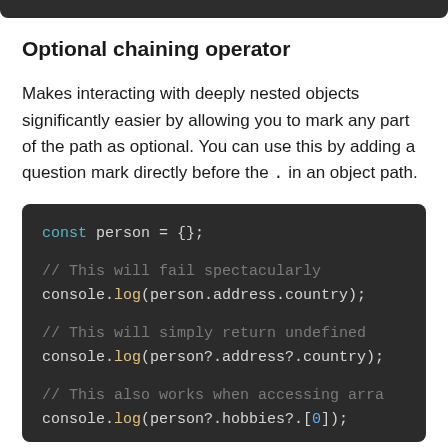Optional chaining operator
Makes interacting with deeply nested objects significantly easier by allowing you to mark any part of the path as optional. You can use this by adding a question mark directly before the . in an object path.
[Figure (screenshot): Dark-themed code block showing JavaScript optional chaining examples: const person = {}; console.log(person.address.country); with comment 'This will fail spectacularly'; console.log(person?.address?.country); with comment 'This will simply return undefined'; console.log(person?.hobbies?.[0]); with comment 'This also works when accessing array']